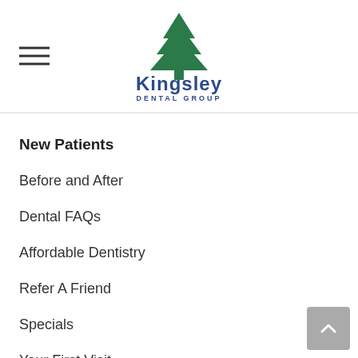[Figure (logo): Kingsley Dental Group logo with green pine tree icon above the text 'Kingsley' in blue and 'DENTAL GROUP' in blue below]
New Patients
Before and After
Dental FAQs
Affordable Dentistry
Refer A Friend
Specials
Your First Visit